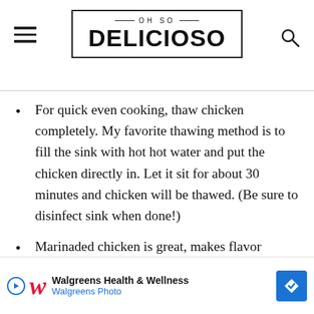OH SO DELICIOSO
For quick even cooking, thaw chicken completely. My favorite thawing method is to fill the sink with hot hot water and put the chicken directly in. Let it sit for about 30 minutes and chicken will be thawed. (Be sure to disinfect sink when done!)
Marinaded chicken is great, makes flavor penetrate the meat. When using marinades or rubs, add a little oil so
[Figure (other): Walgreens Health & Wellness / Walgreens Photo advertisement overlay at the bottom of the page]